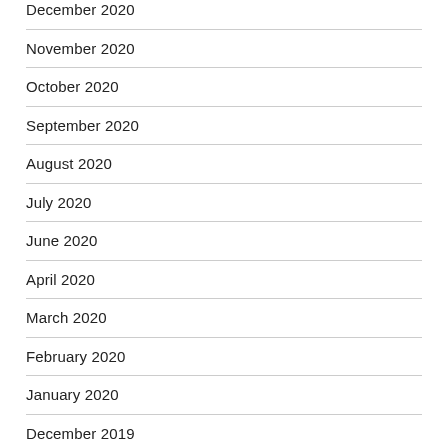December 2020
November 2020
October 2020
September 2020
August 2020
July 2020
June 2020
April 2020
March 2020
February 2020
January 2020
December 2019
October 2019